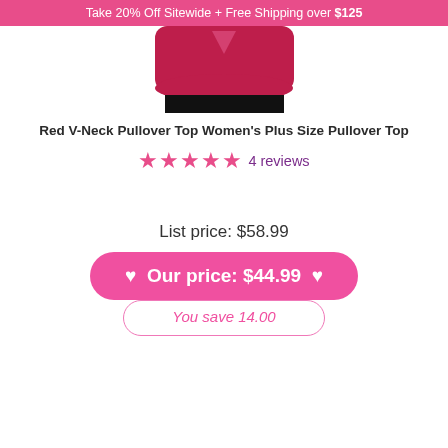Take 20% Off Sitewide + Free Shipping over $125
[Figure (photo): Product photo of a red V-neck pullover top cropped at top of page, showing red fabric top portion and black bottom portion]
Red V-Neck Pullover Top Women's Plus Size Pullover Top
4 reviews
List price: $58.99
♥ Our price: $44.99 ♥
You save 14.00